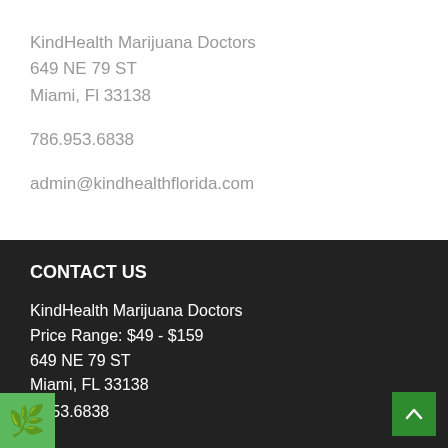KindHealth Marijuana Doctors
649 NE 79 ST
Miami, Fl 33138
786.953.6838
admin@kindhealthflorida.com
CONTACT US
KindHealth Marijuana Doctors
Price Range: $49 - $159
649 NE 79 ST
Miami, FL 33138
s.953.6838